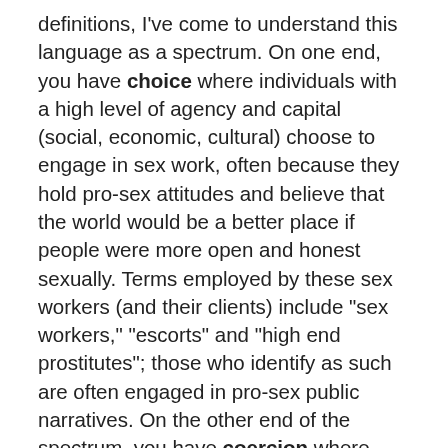definitions, I've come to understand this language as a spectrum. On one end, you have choice where individuals with a high level of agency and capital (social, economic, cultural) choose to engage in sex work, often because they hold pro-sex attitudes and believe that the world would be a better place if people were more open and honest sexually. Terms employed by these sex workers (and their clients) include "sex workers," "escorts" and "high end prostitutes"; those who identify as such are often engaged in pro-sex public narratives. On the other end of the spectrum, you have coercion where individuals lack any form agency or capital and are directly or indirectly forced into the trade through manipulation or force. In between, in a category that describes what I suspect is the bulk of commercial sex, is circumstance. Circumstance itself can also be treated as a spectrum. On the end closest to choice, you have individuals who believe that they should have the right to sell any part of their bodies for financial gain. The logic is simple: why should one's genitals be off-limits when one is allowed to sell one's